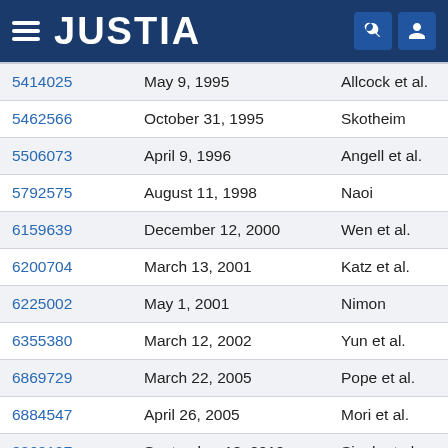JUSTIA
| Patent No. | Date | Inventor(s) |
| --- | --- | --- |
| 5414025 | May 9, 1995 | Allcock et al. |
| 5462566 | October 31, 1995 | Skotheim |
| 5506073 | April 9, 1996 | Angell et al. |
| 5792575 | August 11, 1998 | Naoi |
| 6159639 | December 12, 2000 | Wen et al. |
| 6200704 | March 13, 2001 | Katz et al. |
| 6225002 | May 1, 2001 | Nimon |
| 6355380 | March 12, 2002 | Yun et al. |
| 6869729 | March 22, 2005 | Pope et al. |
| 6884547 | April 26, 2005 | Mori et al. |
| 8268197 | September 18, 2012 | Singh et al. |
| 8563168 | October 22, 2013 | Balsara et al. |